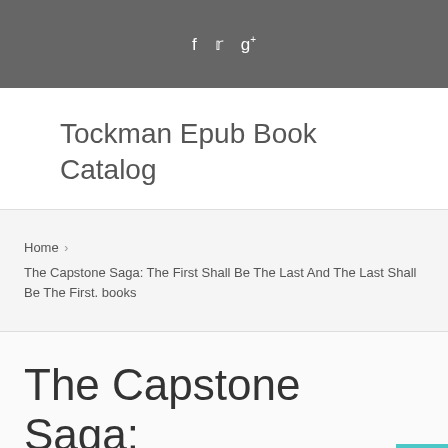f  🐦  g+
Tockman Epub Book Catalog
Home › The Capstone Saga: The First Shall Be The Last And The Last Shall Be The First. books
The Capstone Saga: